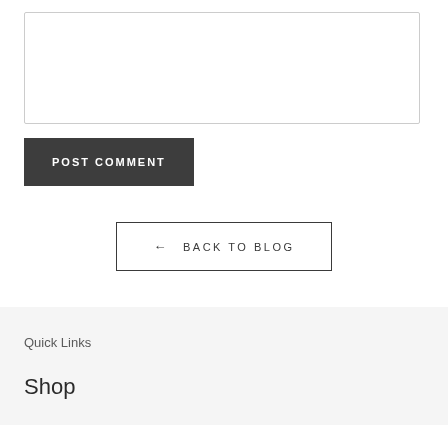[Figure (other): Comment textarea input field, empty]
POST COMMENT
← BACK TO BLOG
Quick Links
Shop